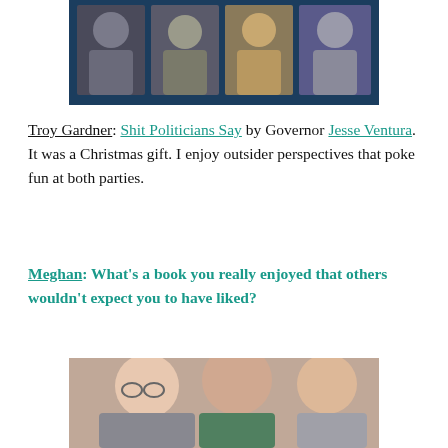[Figure (photo): Book cover showing politicians including George W. Bush, Donald Trump, Benjamin Franklin, and Hillary Clinton on a dark blue background]
Troy Gardner: Shit Politicians Say by Governor Jesse Ventura. It was a Christmas gift. I enjoy outsider perspectives that poke fun at both parties.
Meghan: What's a book you really enjoyed that others wouldn't expect you to have liked?
[Figure (photo): Three women posing together, appearing to be from a movie or TV show promotional photo]